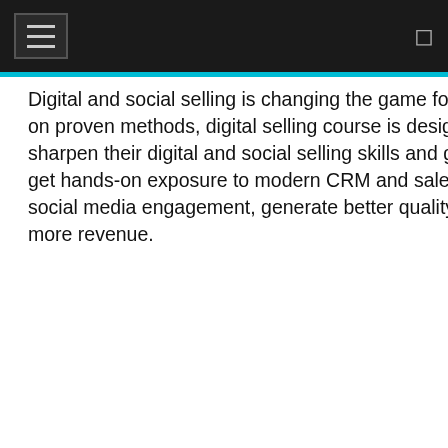≡ navigation bar
Digital and social selling is changing the game for sales and marketing teams everywhere. Based on proven methods, digital selling course is designed to help sales and marketing professionals sharpen their digital and social selling skills and gain a competitive edge in the marketplace. You'll get hands-on exposure to modern CRM and sales intelligence tools and learn how to improve social media engagement, generate better quality prospects, drive faster conversions and generate more revenue.
[Figure (illustration): MyTechLogy branded image with teal background showing a cartoon stick figure character wearing glasses and a red tie, holding a tablet device. Text reads 'MyTechLogy' and 'Where IT Talents Shine'.]